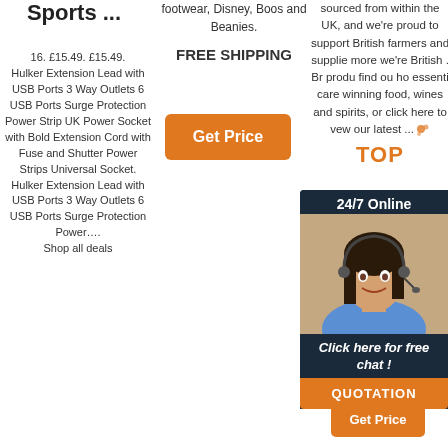Sports ...
16. £15.49. £15.49. Hulker Extension Lead with USB Ports 3 Way Outlets 6 USB Ports Surge Protection Power Strip UK Power Socket with Bold Extension Cord with Fuse and Shutter Power Strips Universal Socket. Hulker Extension Lead with USB Ports 3 Way Outlets 6 USB Ports Surge Protection Power…. Shop all deals
footwear, Disney, Boos and Beanies. FREE SHIPPING
[Figure (other): Orange 'Get Price' button]
sourced from within the UK, and we're proud to support British farmers and suppliers. more we're British . Br produ find ou ho essenti care winning food, wines and spirits, or click here to view our latest ...
[Figure (other): 24/7 Online chat widget with woman wearing headset, 'Click here for free chat!' text and QUOTATION button]
[Figure (other): Orange 'Get Price' button at bottom right]